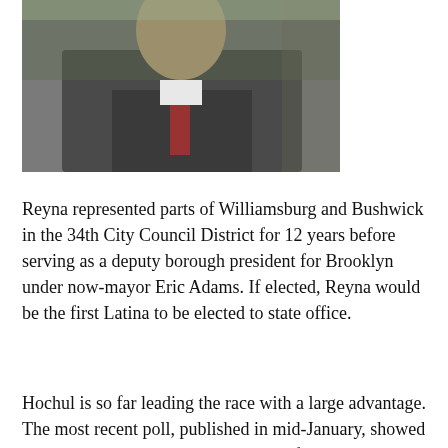[Figure (photo): Photograph of a person in a suit, partially visible, taken outdoors with trees in the background. The image is cropped showing the upper body.]
Reyna represented parts of Williamsburg and Bushwick in the 34th City Council District for 12 years before serving as a deputy borough president for Brooklyn under now-mayor Eric Adams. If elected, Reyna would be the first Latina to be elected to state office.
Hochul is so far leading the race with a large advantage. The most recent poll, published in mid-January, showed Hochul with a whopping 46 percent of the vote compared to just 6 percent of voters polled who said they would vote for Suozzi.
As of January 28, Hochul had $21 million cash on hand, while Suozzi told the Post that as of January 17, he had over $5 million in his campaign coffers. Hochul has